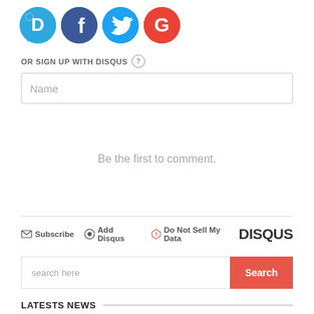[Figure (illustration): Social login icons: Disqus (blue D), Facebook (dark blue F), Twitter (light blue bird), Google (red G) — all circular]
OR SIGN UP WITH DISQUS (?)
Name
Be the first to comment.
Subscribe  Add Disqus  Do Not Sell My Data  DISQUS
search here  Search
LATESTS NEWS
New Music : Xayn x Breezy x Sadeshmadethis – Heat Ft. Shaniya (Official Music Video)